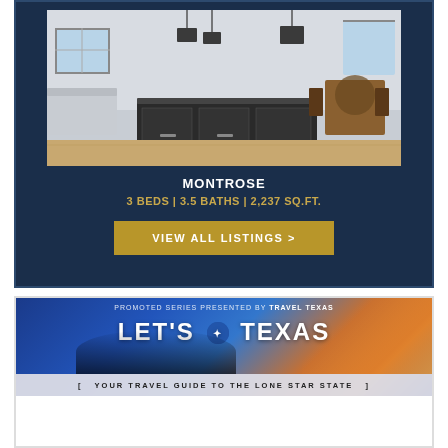[Figure (photo): Interior photo of a modern kitchen/dining area with dark island countertop, pendant lights, white walls, and open-plan living space]
MONTROSE
3 BEDS | 3.5 BATHS | 2,237 SQ.FT.
VIEW ALL LISTINGS >
[Figure (photo): Travel Texas promotional banner reading 'PROMOTED SERIES PRESENTED BY TRAVEL TEXAS' with 'LET'S TEXAS' logo and silhouetted people around a campfire at sunset. Bottom bar reads '[ YOUR TRAVEL GUIDE TO THE LONE STAR STATE ]']
8/30
Raise a glass to Texas wine and outdoor fun in friendly Early